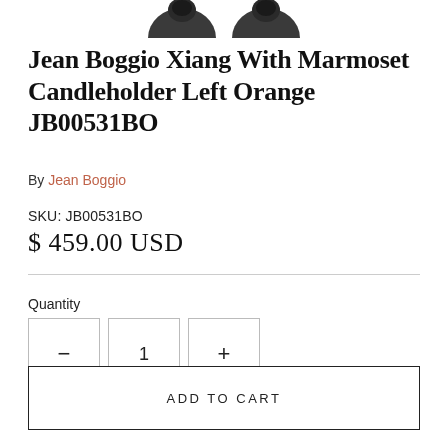[Figure (photo): Partial view of two dark candleholder product images at the top of the page, cropped]
Jean Boggio Xiang With Marmoset Candleholder Left Orange JB00531BO
By Jean Boggio
SKU: JB00531BO
$ 459.00 USD
Quantity
ADD TO CART